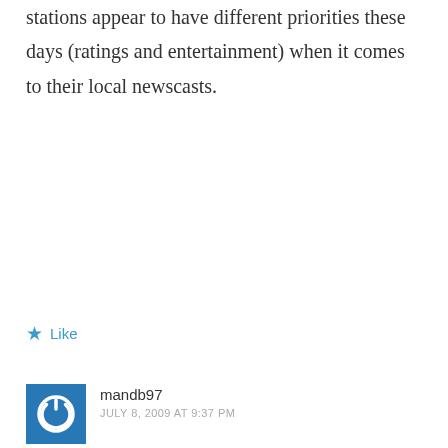stations appear to have different priorities these days (ratings and entertainment) when it comes to their local newscasts.
★ Like
mandb97
JULY 8, 2009 AT 9:37 PM
Scott Wahle is the reason Bruce Glasier is still the anchor at WCSH6 in Portland, ME. Around 1980 Wahle left WCSH to do his first tour in the Boston market.